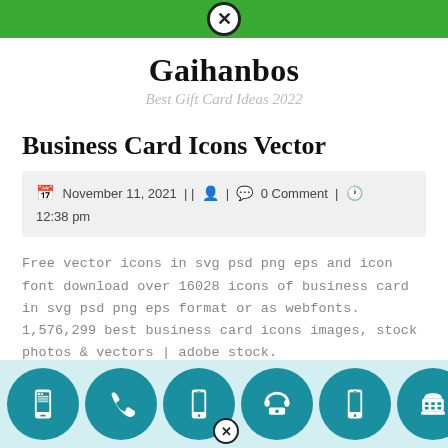Gaihanbos - Best Gift Card Ideas 2022
Gaihanbos
Best Gift Card Ideas 2022
Business Card Icons Vector
November 11, 2021 | | [user icon] | [comment icon] 0 Comment | [clock icon] 12:38 pm
Free vector icons in svg psd png eps and icon font download over 16028 icons of business card in svg psd png eps format or as webfonts. 1,576,299 best business card icons images, stock photos & vectors | adobe stock.
[Figure (illustration): Row of teal circular icons showing various phone/mobile device icons: mobile phone, phone handset, smartphone, rotary phone, smartphone 2, vintage telephone]